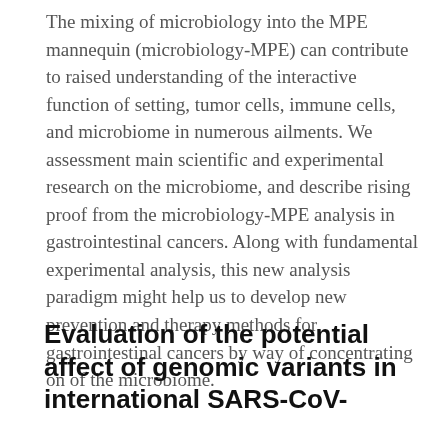The mixing of microbiology into the MPE mannequin (microbiology-MPE) can contribute to raised understanding of the interactive function of setting, tumor cells, immune cells, and microbiome in numerous ailments. We assessment main scientific and experimental research on the microbiome, and describe rising proof from the microbiology-MPE analysis in gastrointestinal cancers. Along with fundamental experimental analysis, this new analysis paradigm might help us to develop new prevention and therapy methods for gastrointestinal cancers by way of concentrating on of the microbiome.
Evaluation of the potential affect of genomic variants in international SARS-CoV-